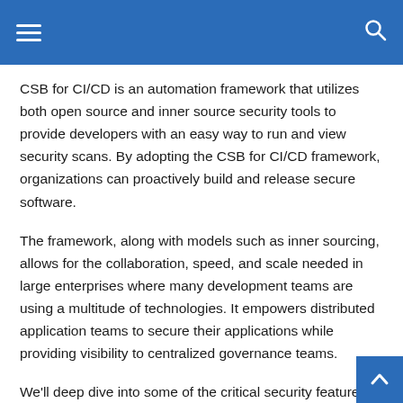Navigation header with hamburger menu and search icon
CSB for CI/CD is an automation framework that utilizes both open source and inner source security tools to provide developers with an easy way to run and view security scans. By adopting the CSB for CI/CD framework, organizations can proactively build and release secure software.
The framework, along with models such as inner sourcing, allows for the collaboration, speed, and scale needed in large enterprises where many development teams are using a multitude of technologies. It empowers distributed application teams to secure their applications while providing visibility to centralized governance teams.
We'll deep dive into some of the critical security features that we enabled, including Software Composition Analysis (SCA), Container Security, Static Application Security Testing (SAST), and Dynamic Application Security Testing (DAST) in the next blog series. We'll also include strategies being employed to monitor for architecture drift an…